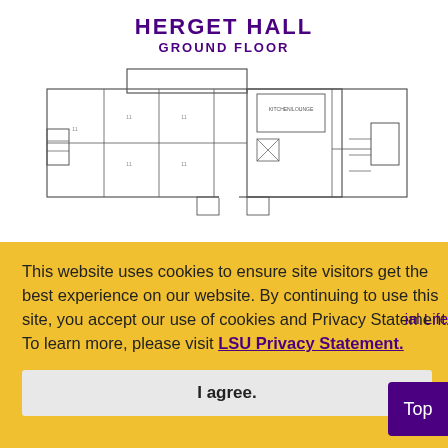Herget Hall
Ground Floor
[Figure (engineering-diagram): Floor plan schematic of Herget Hall Ground Floor showing room layouts, corridors, stairs, and labeled spaces including kitchen/lounge area.]
This website uses cookies to ensure site visitors get the best experience on our website. By continuing to use this site, you accept our use of cookies and Privacy Statement. To learn more, please visit LSU Privacy Statement.
I agree.